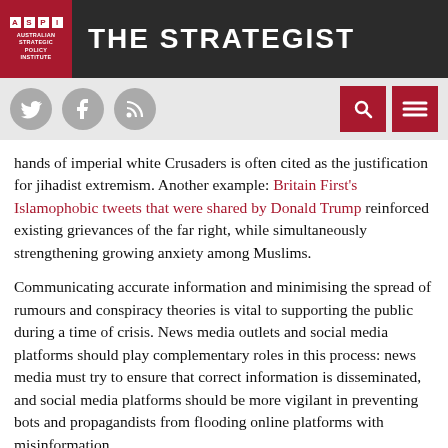THE STRATEGIST — Australian Strategic Policy Institute
hands of imperial white Crusaders is often cited as the justification for jihadist extremism. Another example: Britain First's Islamophobic tweets that were shared by Donald Trump reinforced existing grievances of the far right, while simultaneously strengthening growing anxiety among Muslims.
Communicating accurate information and minimising the spread of rumours and conspiracy theories is vital to supporting the public during a time of crisis. News media outlets and social media platforms should play complementary roles in this process: news media must try to ensure that correct information is disseminated, and social media platforms should be more vigilant in preventing bots and propagandists from flooding online platforms with misinformation.